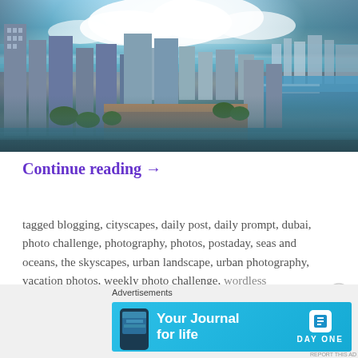[Figure (photo): Aerial photo of a coastal city skyline with tall skyscrapers, a waterway/river, ocean in the background, and blue sky with white clouds. Likely Miami or a similar coastal city.]
Continue reading →
tagged blogging, cityscapes, daily post, daily prompt, dubai, photo challenge, photography, photos, postaday, seas and oceans, the skyscapes, urban landscape, urban photography, vacation photos, weekly photo challenge, wordless wednesday    3 comments
[Figure (infographic): Advertisement banner: 'Your Journal for life' with Day One app branding, showing a smartphone with the app and the Day One logo.]